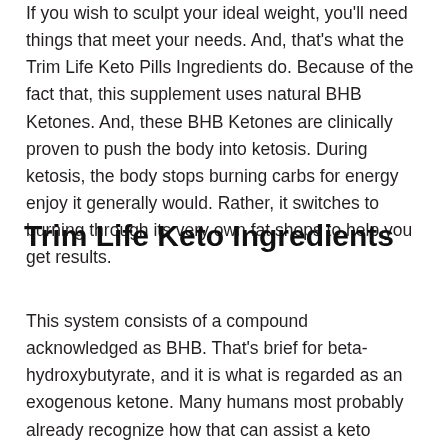If you wish to sculpt your ideal weight, you'll need things that meet your needs. And, that's what the Trim Life Keto Pills Ingredients do. Because of the fact that, this supplement uses natural BHB Ketones. And, these BHB Ketones are clinically proven to push the body into ketosis. During ketosis, the body stops burning carbs for energy enjoy it generally would. Rather, it switches to burning through its very own fat shops to help you get results.
Trim Life Keto Ingredients
This system consists of a compound acknowledged as BHB. That's brief for beta-hydroxybutyrate, and it is what is regarded as an exogenous ketone. Many humans most probably already recognize how that can assist a keto weight loss program regime along, then again in state of affairs you do not, we are in a position to furnish the facts.